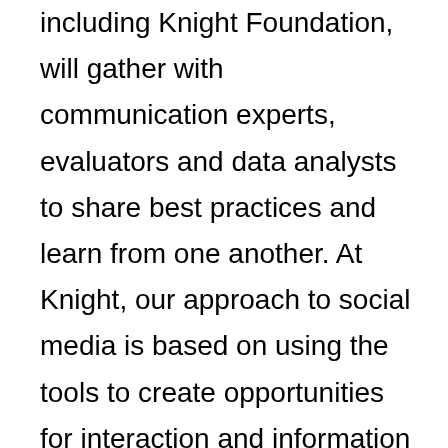including Knight Foundation, will gather with communication experts, evaluators and data analysts to share best practices and learn from one another. At Knight, our approach to social media is based on using the tools to create opportunities for interaction and information exchange. As my colleagues Elizabeth Miller and Jon Sotsky recently wrote, we actively use social media to connect with our network, gather feedback, cultivate networks and promote our grantees and topics of interest. As a foundation, we've often used social media to disseminate publications and lessons learned, invite discussion on foundation topics, promote